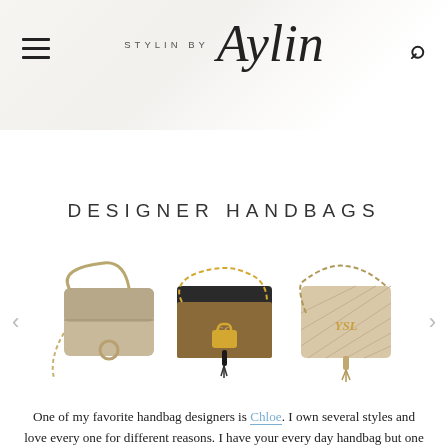STYLIN BY Aylin
DESIGNER HANDBAGS
[Figure (photo): Carousel of three designer handbags: a beige/tan Chloe Faye crossbody bag, a Gucci Padlock GG Supreme canvas and leather shoulder bag, and a beige YSL quilted Lou camera bag. Left and right navigation arrows flank the images.]
One of my favorite handbag designers is Chloe. I own several styles and love every one for different reasons. I have your every day handbag but one of my favorites is the Nile